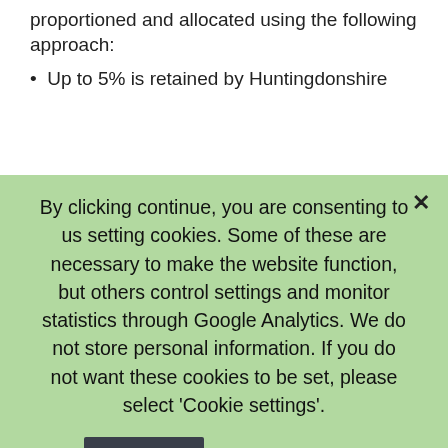proportioned and allocated using the following approach:
Up to 5% is retained by Huntingdonshire
By clicking continue, you are consenting to us setting cookies. Some of these are necessary to make the website function, but others control settings and monitor statistics through Google Analytics. We do not store personal information. If you do not want these cookies to be set, please select 'Cookie settings'.